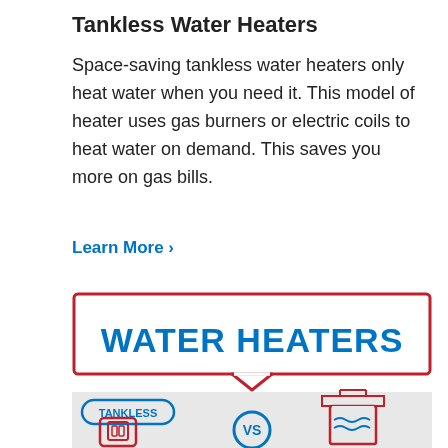Tankless Water Heaters
Space-saving tankless water heaters only heat water when you need it. This model of heater uses gas burners or electric coils to heat water on demand. This saves you more on gas bills.
Learn More >
[Figure (infographic): Infographic showing 'WATER HEATERS' in bold blue text inside a red-bordered speech bubble box, with a gray section below showing a tankless water heater unit labeled 'TANKLESS' on the left, a 'VS' circle in the center, and a traditional tank water heater on the right.]